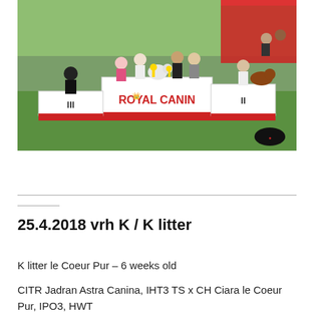[Figure (photo): Outdoor dog show podium scene with Royal Canin branding. People and dogs stand on a three-level podium marked I (center), II (right), III (left). Background shows green grass and red canopy tent.]
25.4.2018 vrh K / K litter
K litter le Coeur Pur – 6 weeks old
CITR Jadran Astra Canina, IHT3 TS x CH Ciara le Coeur Pur, IPO3, HWT